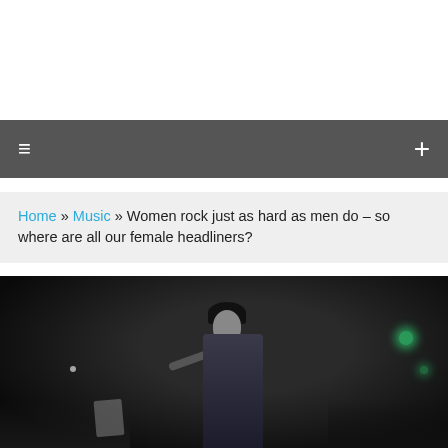Home » Music » Women rock just as hard as men do – so where are all our female headliners?
[Figure (photo): A performer on stage, holding a microphone, wearing a dark patterned top, with a dark crowd visible in the foreground and green stage lights in the background.]